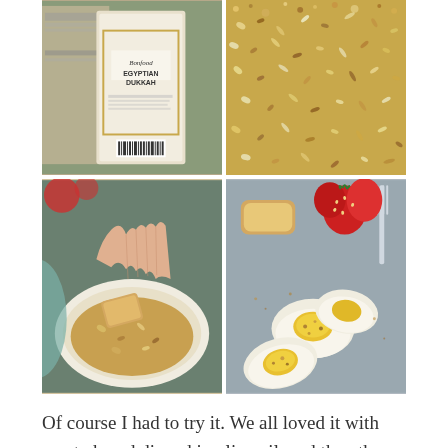[Figure (photo): Package of Egyptian Dukkah spice blend with label text visible]
[Figure (photo): Close-up overhead view of dukkah spice mixture with seeds and nuts]
[Figure (photo): Hand dipping a piece of bread into a white bowl of dukkah]
[Figure (photo): Sliced hard boiled eggs on a surface with strawberries and bread in background]
Of course I had to try it. We all loved it with crusty bread dipped in olive oil, and then the Dukkah. It was even good sprinkled on our breakfast of hard boiled eggs in our